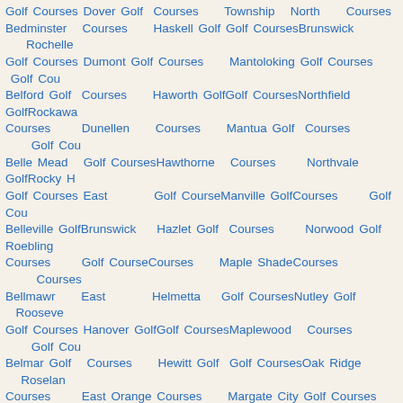Golf Courses Dover Golf Courses Township North Courses Bedminster Courses Haskell Golf Golf Courses Brunswick Rochelle Golf Courses Dumont Golf Courses Mantoloking Golf Courses Golf Cou Belford Golf Courses Haworth Golf Golf Courses Northfield Golf Rockawa Courses Dunellen Courses Mantua Golf Courses Golf Cou Belle Mead Golf Courses Hawthorne Courses Northvale Golf Rocky H Golf Courses East Golf Courses Manville Golf Courses Golf Cou Belleville Golf Brunswick Hazlet Golf Courses Norwood Golf Roebling Courses Golf Courses Courses Maple Shade Courses Courses Bellmawr East Helmetta Golf Courses Nutley Golf Rooseve Golf Courses Hanover Golf Golf Courses Maplewood Courses Golf Cou Belmar Golf Courses Hewitt Golf Golf Courses Oak Ridge Roselan Courses East Orange Courses Margate City Golf Courses Golf Cou Belvidere Golf Courses Hibernia Golf Golf Courses Oakhurst Golf Roselle Golf Courses East Courses Marlboro Courses Courses Bergenfield Rutherford High Bridge Golf Courses Oakland Golf Roselle Golf Courses Golf Courses Golf Courses Marlton Golf Courses Golf Cou Berkeley Eatontown Highland Courses Oaklyn Golf Rosemo Heights Golf Golf Courses Lakes Golf Marmora Courses Golf Cou Courses Edgewater Courses Golf Courses Ocean City Rosenha Berlin Golf Golf Courses Highland Martinsville Golf Courses Golf Cou Courses Edison Golf Park Golf Golf Courses Ocean Gate Rumson Bernardsville Courses Courses Matawan Golf Courses Courses Golf Courses Egg Harbor Highlands Golf Courses Ocean Grove Runnem Beverly Golf City Golf Golf Courses Mays Golf Courses Golf Cou Courses Courses Hightstown Landing Golf Ocean View Rutherfo